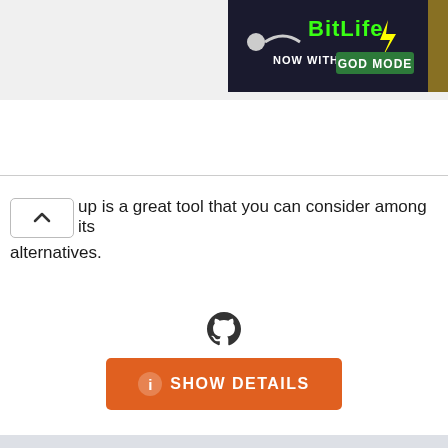[Figure (screenshot): BitLife ad banner: 'NOW WITH GOD MODE' on dark background with green and yellow text]
up is a great tool that you can consider among its alternatives.
[Figure (logo): GitHub logo (Octocat) icon in dark color]
SHOW DETAILS
#7 DbProtect
[Figure (logo): DbProtect logo: black and red geometric angular shape on white background]
Paid